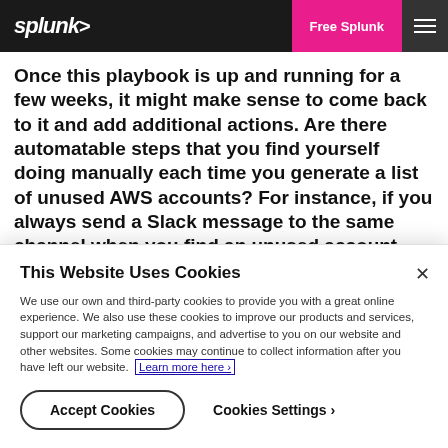splunk> | Free Splunk
Once this playbook is up and running for a few weeks, it might make sense to come back to it and add additional actions. Are there automatable steps that you find yourself doing manually each time you generate a list of unused AWS accounts? For instance, if you always send a Slack message to the same channel when you find an unused account, you could configure the Slack App on Phantom and add a “send message” action to the playbook.
This Website Uses Cookies
We use our own and third-party cookies to provide you with a great online experience. We also use these cookies to improve our products and services, support our marketing campaigns, and advertise to you on our website and other websites. Some cookies may continue to collect information after you have left our website. Learn more here ›
Accept Cookies | Cookies Settings ›